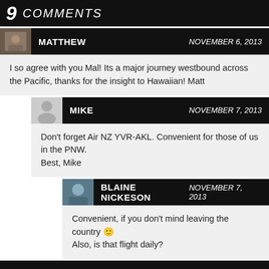9 COMMENTS
MATTHEW  NOVEMBER 6, 2013
I so agree with you Mal! Its a major journey westbound across the Pacific, thanks for the insight to Hawaiian! Matt
MIKE  NOVEMBER 7, 2013
Don't forget Air NZ YVR-AKL. Convenient for those of us in the PNW.
Best, Mike
BLAINE NICKESON  NOVEMBER 7, 2013
Convenient, if you don't mind leaving the country 🙂 Also, is that flight daily?
TRISHY  MARCH 18, 2014
Thank you for the excellent review. For my one and half decades living in the USA, in Arizona, I have done the Air New Zealand this season and tired here. But this...